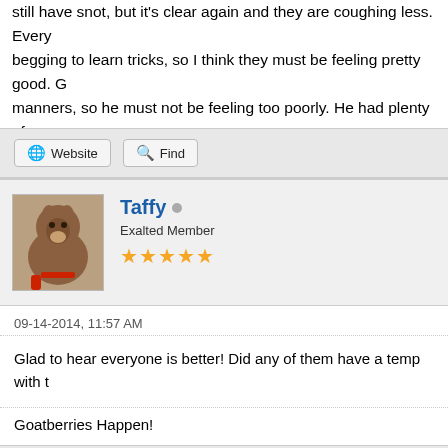still have snot, but it's clear again and they are coughing less. Every begging to learn tricks, so I think they must be feeling pretty good. G manners, so he must not be feeling too poorly. He had plenty of ene
Website | Find
Taffy
Exalted Member
★★★★★
09-14-2014, 11:57 AM
Glad to hear everyone is better! Did any of them have a temp with t
Goatberries Happen!
Website | Find
sydneyjd
^ Is not the average kid
★★★★★